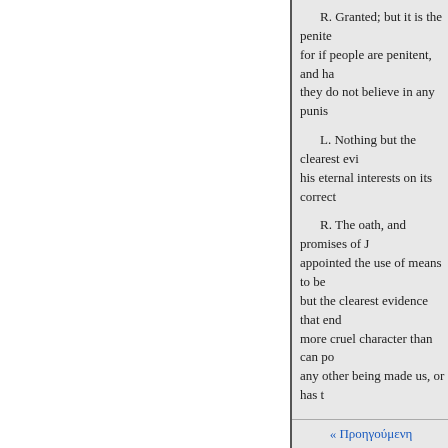R. Granted; but it is the penitent... for if people are penitent, and ha... they do not believe in any punis...
L. Nothing but the clearest evi... his eternal interests on its correct...
R. The oath, and promises of J... appointed the use of means to be... but the clearest evidence that end... more cruel character than can po... any other being made us, or has...
L. Can he then be in his right m... soul, who shuns the path which h... say the least, may lead him down...
R. This intimates, that there is... conduct to heaven; but if any ser... come, their services are similar t... more sacrifices than they did the... save all, are not only blame wort...
« Προηγούμενη